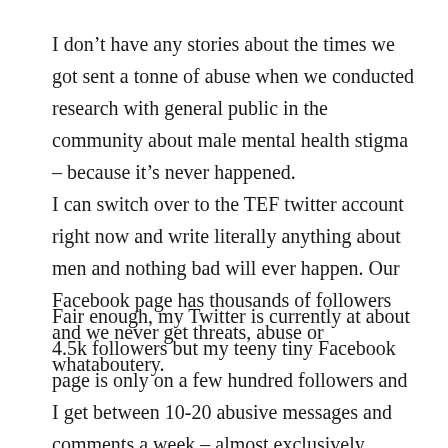I don't have any stories about the times we got sent a tonne of abuse when we conducted research with general public in the community about male mental health stigma – because it's never happened. I can switch over to the TEF twitter account right now and write literally anything about men and nothing bad will ever happen. Our Facebook page has thousands of followers and we never get threats, abuse or whataboutery.
Fair enough, my Twitter is currently at about 4.5k followers but my teeny tiny Facebook page is only on a few hundred followers and I get between 10-20 abusive messages and comments a week – almost exclusively comments about me focusing on women and girls –